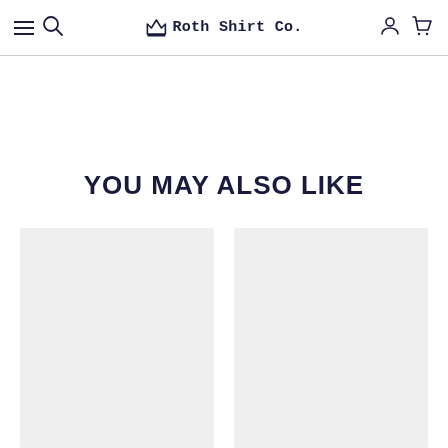Roth Shirt Co.
YOU MAY ALSO LIKE
[Figure (other): Two empty product placeholder cards shown side by side below 'YOU MAY ALSO LIKE' heading]